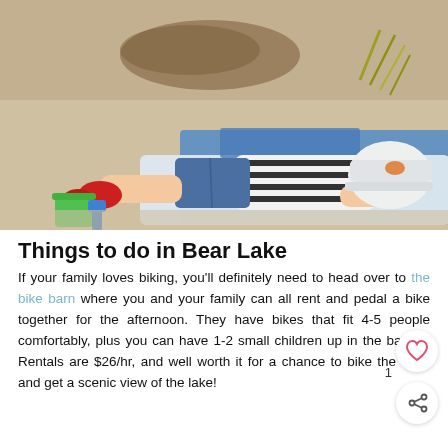[Figure (photo): A child lying face-down on a blue blanket/towel on a sandy beach, wearing a black-and-white striped shirt, denim shorts, red shoes, and a white cap. Beach toys (green bucket, blue shovel) visible in the lower left corner.]
Things to do in Bear Lake
If your family loves biking, you'll definitely need to head over to the bike barn where you and your family can all rent and pedal a bike together for the afternoon. They have bikes that fit 4-5 people comfortably, plus you can have 1-2 small children up in the basket! Rentals are $26/hr, and well worth it for a chance to bike the trails and get a scenic view of the lake!